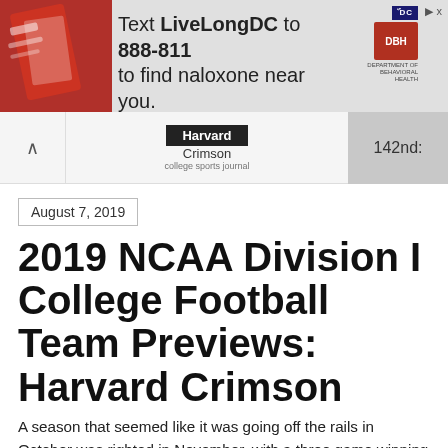[Figure (infographic): Advertisement banner: Text LiveLongDC to 888-811 to find naloxone near you. Shows image of naloxone pen on left, DC and DBH logos on right.]
Harvard Crimson
college sports journal
142nd:
August 7, 2019
2019 NCAA Division I College Football Team Previews: Harvard Crimson
A season that seemed like it was going off the rails in October was righted in November, with a three game winning streak and a sweet 45-27 win over their hated Rival Yale at Fenway Park clinching a winning campaign. It was the 135th meeting between the two bitter rivals.